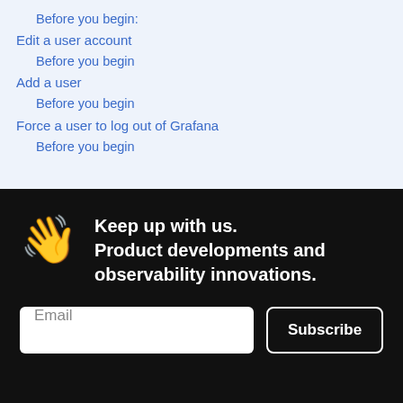Before you begin:
Edit a user account
Before you begin
Add a user
Before you begin
Force a user to log out of Grafana
Before you begin
Keep up with us. Product developments and observability innovations.
Email
Subscribe